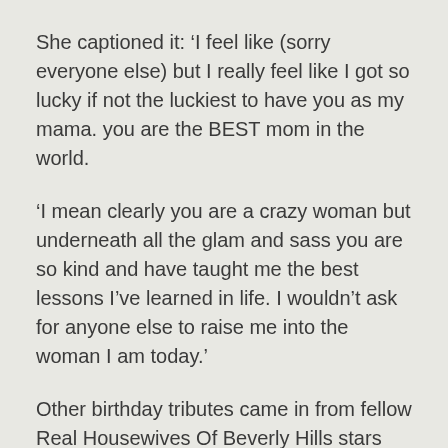She captioned it: ‘I feel like (sorry everyone else) but I really feel like I got so lucky if not the luckiest to have you as my mama. you are the BEST mom in the world.
‘I mean clearly you are a crazy woman but underneath all the glam and sass you are so kind and have taught me the best lessons I’ve learned in life. I wouldn’t ask for anyone else to raise me into the woman I am today.’
Other birthday tributes came in from fellow Real Housewives Of Beverly Hills stars Kyle Richards and Garcelle Beauvais, along with many other famous friends.